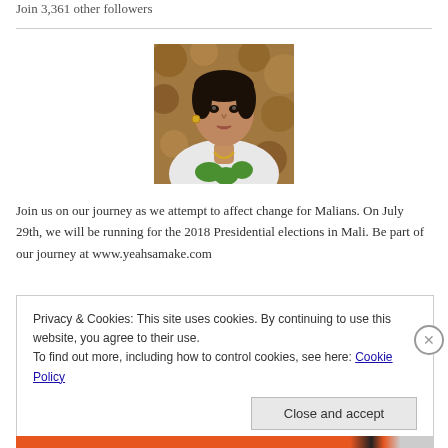Join 3,361 other followers
[Figure (photo): Portrait photo of a woman in a white and green outfit with gold jewelry, seated in front of a decorative brown background.]
Join us on our journey as we attempt to affect change for Malians. On July 29th, we will be running for the 2018 Presidential elections in Mali. Be part of our journey at www.yeahsamake.com
Privacy & Cookies: This site uses cookies. By continuing to use this website, you agree to their use.
To find out more, including how to control cookies, see here: Cookie Policy
Close and accept